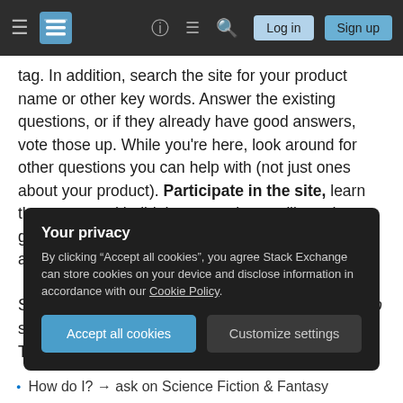Stack Exchange navigation bar with hamburger menu, logo, help, chat, search icons, Log in and Sign up buttons
tag. In addition, search the site for your product name or other key words. Answer the existing questions, or if they already have good answers, vote those up. While you're here, look around for other questions you can help with (not just ones about your product). Participate in the site, learn the ropes, and build the reputation you'll need to gain important privileges like commenting, editing, and others.

Science Fiction & Fantasy Stack Exchange can help support your product but it can't be the only support. There are issues that only you can address, and if you send your users to Science Fiction & Fantasy Stack Exchange for them they'll
Your privacy
By clicking "Accept all cookies", you agree Stack Exchange can store cookies on your device and disclose information in accordance with our Cookie Policy.
Accept all cookies  Customize settings
How do I? → ask on Science Fiction & Fantasy